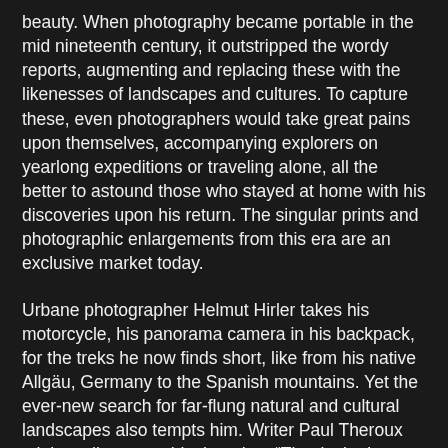beauty. When photography became portable in the mid nineteenth century, it outstripped the wordy reports, augmenting and replacing these with the likenesses of landscapes and cultures. To capture these, even photographers would take great pains upon themselves, accompanying explorers on yearlong expeditions or traveling alone, all the better to astound those who stayed at home with his discoveries upon his return. The singular prints and photographic enlargements from this era are an exclusive market today.
Urbane photographer Helmut Hirler takes his motorcycle, his panorama camera in his backpack, for the treks he now finds short, like from his native Allgäu, Germany to the Spanish mountains. Yet the ever-new search for far-flung natural and cultural landscapes also tempts him. Writer Paul Theroux might well express his thoughts: “That is the best mood for a departure: I was ready, I was game for anything. Only later, when you’re en route, do you notice that the greatest distance awakens the greatest illusions and that traveling alone is both a pleasure and a burden.”* Photographer Hirler relates his long, solitary tours in his